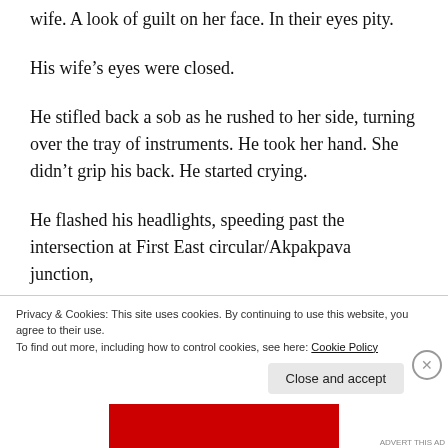wife. A look of guilt on her face. In their eyes pity.
His wife's eyes were closed.
He stifled back a sob as he rushed to her side, turning over the tray of instruments. He took her hand. She didn't grip his back. He started crying.
He flashed his headlights, speeding past the intersection at First East circular/Akpakpava junction,
Privacy & Cookies: This site uses cookies. By continuing to use this website, you agree to their use.
To find out more, including how to control cookies, see here: Cookie Policy
Close and accept